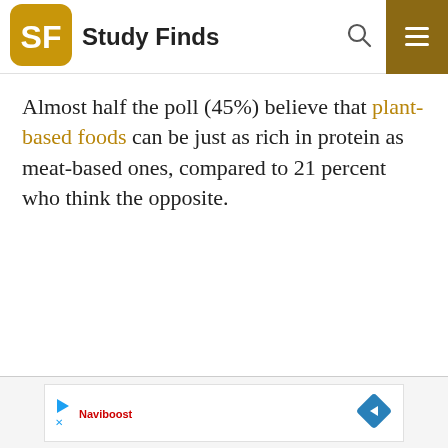Study Finds
Almost half the poll (45%) believe that plant-based foods can be just as rich in protein as meat-based ones, compared to 21 percent who think the opposite.
[Figure (other): Advertisement banner with play button icon, a red brand name, and a blue navigation arrow diamond icon]